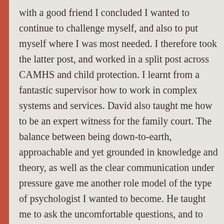with a good friend I concluded I wanted to continue to challenge myself, and also to put myself where I was most needed. I therefore took the latter post, and worked in a split post across CAMHS and child protection. I learnt from a fantastic supervisor how to work in complex systems and services. David also taught me how to be an expert witness for the family court. The balance between being down-to-earth, approachable and yet grounded in knowledge and theory, as well as the clear communication under pressure gave me another role model of the type of psychologist I wanted to become. He taught me to ask the uncomfortable questions, and to balance holding empathy for parents with speaking up for the best interests of the child. Then in my